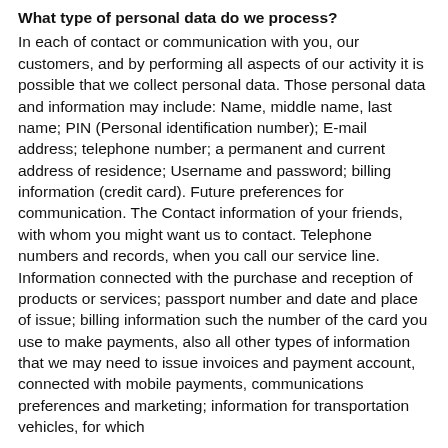What type of personal data do we process?
In each of contact or communication with you, our customers, and by performing all aspects of our activity it is possible that we collect personal data. Those personal data and information may include: Name, middle name, last name; PIN (Personal identification number); E-mail address; telephone number; a permanent and current address of residence; Username and password; billing information (credit card). Future preferences for communication. The Contact information of your friends, with whom you might want us to contact. Telephone numbers and records, when you call our service line. Information connected with the purchase and reception of products or services; passport number and date and place of issue; billing information such the number of the card you use to make payments, also all other types of information that we may need to issue invoices and payment account, connected with mobile payments, communications preferences and marketing; information for transportation vehicles, for which